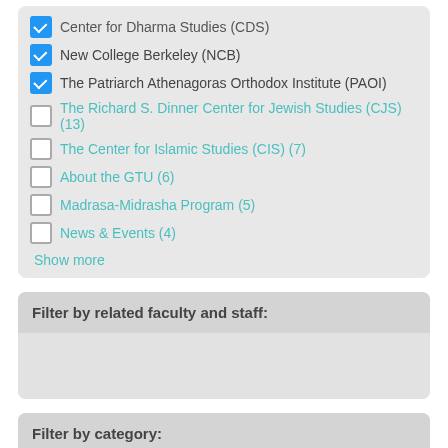Center for Dharma Studies (CDS) [checked]
New College Berkeley (NCB) [checked]
The Patriarch Athenagoras Orthodox Institute (PAOI) [checked]
The Richard S. Dinner Center for Jewish Studies (CJS) (13)
The Center for Islamic Studies (CIS) (7)
About the GTU (6)
Madrasa-Midrasha Program (5)
News & Events (4)
Show more
Filter by related faculty and staff:
Filter by category:
Filter by event categories: